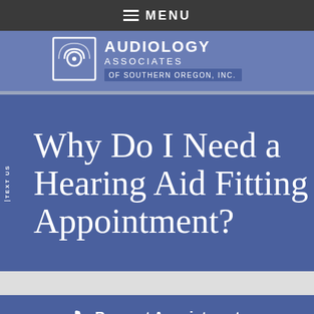MENU
[Figure (logo): Audiology Associates of Southern Oregon, Inc. logo with ear/sound wave icon]
Why Do I Need a Hearing Aid Fitting Appointment?
TEXT US
Request Appointment